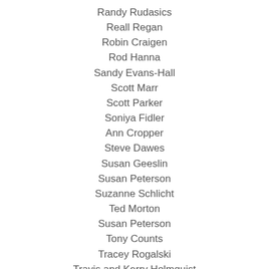Randy Rudasics
Reall Regan
Robin Craigen
Rod Hanna
Sandy Evans-Hall
Scott Marr
Scott Parker
Soniya Fidler
Ann Cropper
Steve Dawes
Susan Geeslin
Susan Peterson
Suzanne Schlicht
Ted Morton
Susan Peterson
Tony Counts
Tracey Rogalski
Travis and Kerry Holmquist
Trish Sullivan